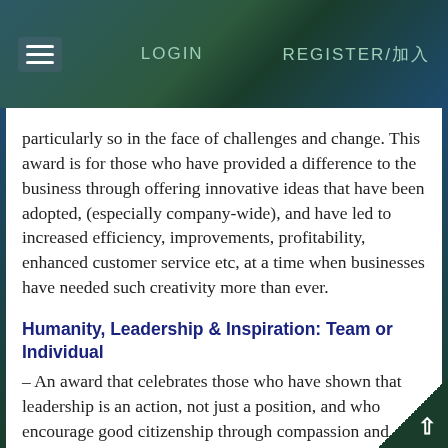LOGIN   REGISTER/加入
particularly so in the face of challenges and change. This award is for those who have provided a difference to the business through offering innovative ideas that have been adopted, (especially company-wide), and have led to increased efficiency, improvements, profitability, enhanced customer service etc, at a time when businesses have needed such creativity more than ever.
Humanity, Leadership & Inspiration: Team or Individual
– An award that celebrates those who have shown that leadership is an action, not just a position, and who encourage good citizenship through compassion and empathy and responsibility.
To reach as far and wide as possible, each of the five main award categories will be divided into four geographic and three department sub-categories in order to fully recognise and celebrate a diverse range of employees